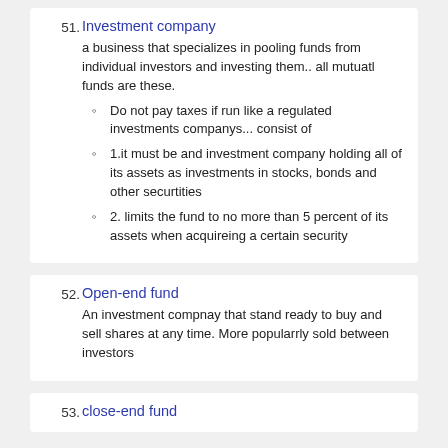Investment company
a business that specializes in pooling funds from individual investors and investing them.. all mutuatl funds are these.
Do not pay taxes if run like a regulated investments companys... consist of
1.it must be and investment company holding all of its assets as investments in stocks, bonds and other securtities
2. limits the fund to no more than 5 percent of its assets when acquireing a certain security
Open-end fund
An investment compnay that stand ready to buy and sell shares at any time. More popularrly sold between investors
close-end fund